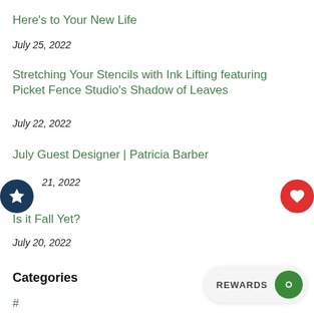Here's to Your New Life
July 25, 2022
Stretching Your Stencils with Ink Lifting featuring Picket Fence Studio's Shadow of Leaves
July 22, 2022
July Guest Designer | Patricia Barber
21, 2022
Is it Fall Yet?
July 20, 2022
Categories
#